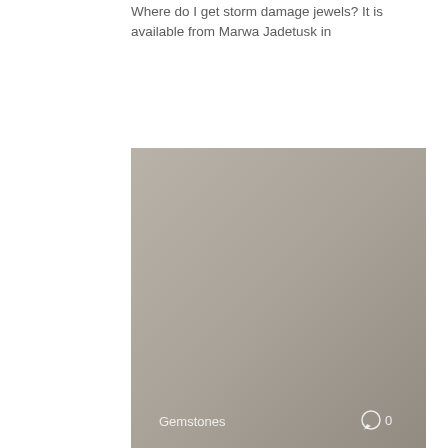Where do I get storm damage jewels? It is available from Marwa Jadetusk in
[Figure (photo): A grey/taupe colored image placeholder with label 'Gemstones' at the bottom left and a comment icon with '0' at the bottom right.]
Gemstones   ○ 0
Can you clean diamonds with toothpaste?
Chlorine bleach or abrasives (such as household cleansers or toothpaste) should never be used
[Figure (photo): A grey/taupe colored image placeholder, partially visible at the bottom of the page.]